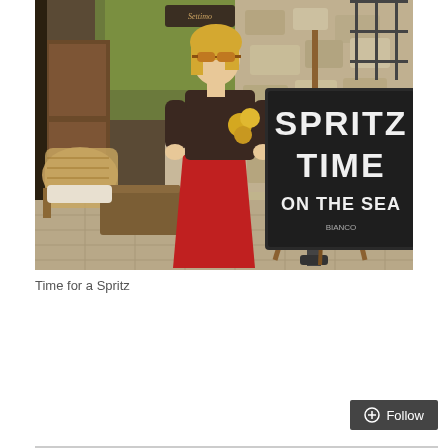[Figure (photo): A woman with blonde hair and sunglasses wearing a dark brown top and red skirt stands next to a blackboard sign on an easel that reads 'SPRITZ TIME ON THE SEA'. She is outdoors at a cafe terrace with wicker furniture, stone walls, and green ivy in the background.]
Time for a Spritz